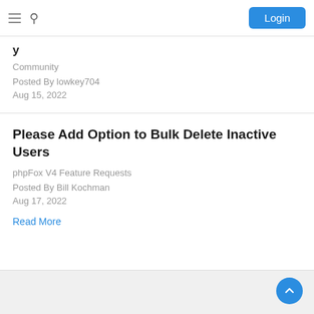Login
Community
Posted By lowkey704
Aug 15, 2022
Please Add Option to Bulk Delete Inactive Users
phpFox V4 Feature Requests
Posted By Bill Kochman
Aug 17, 2022
Read More